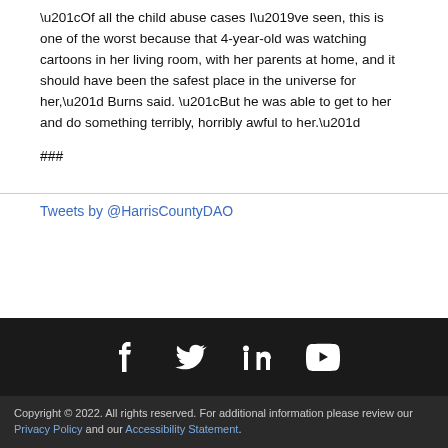“Of all the child abuse cases I’ve seen, this is one of the worst because that 4-year-old was watching cartoons in her living room, with her parents at home, and it should have been the safest place in the universe for her,” Burns said. “But he was able to get to her and do something terribly, horribly awful to her.”
###
Tweets by @HarrisCountyDAO
[Figure (other): Social media icons: Facebook, Twitter, LinkedIn, YouTube]
Copyright © 2022. All rights reserved. For additional information please review our Privacy Policy and our Accessibility Statement.